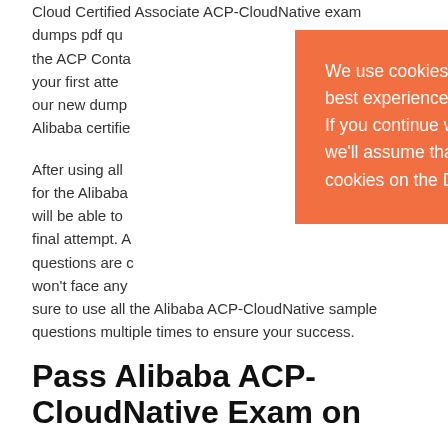Cloud Certified Associate ACP-CloudNative exam dumps pdf qu... the ACP Conta... your first atte... our new dump... Alibaba certifie...
After using all ... for the Alibaba ... will be able to ... final attempt. A... questions are c... won't face any ... sure to use all the Alibaba ACP-CloudNative sample questions multiple times to ensure your success.
[Figure (screenshot): Orange cookie consent modal overlay on top of page content. Contains close X button in top right, and text: 'We use cookies to ensure that we give you the best experience on our website (Dumps4expert). If you continue without changing your settings, we'll assume that you are happy to receive all cookies on the Dumps4expert.']
Pass Alibaba ACP-CloudNative Exam on